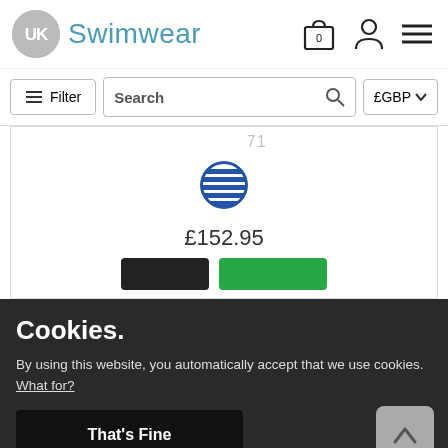[Figure (logo): UK Swimwear logo with grey circle containing UK letters and teal Swimwear text]
[Figure (screenshot): Toolbar with Filter button, Search box, and £GBP currency selector]
£152.95
Cookies.
By using this website, you automatically accept that we use cookies. What for?
That's Fine